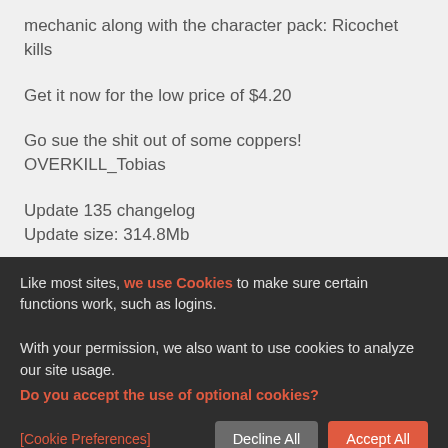mechanic along with the character pack: Ricochet kills
Get it now for the low price of $4.20
Go sue the shit out of some coppers!
OVERKILL_Tobias
Update 135 changelog
Update size: 314.8Mb
Like most sites, we use Cookies to make sure certain functions work, such as logins.

With your permission, we also want to use cookies to analyze our site usage.
Do you accept the use of optional cookies?
[Cookie Preferences]
Decline All
Accept All